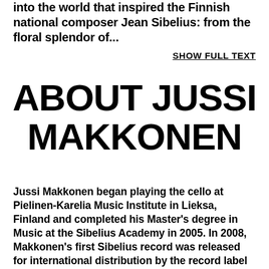into the world that inspired the Finnish national composer Jean Sibelius: from the floral splendor of...
SHOW FULL TEXT
ABOUT JUSSI MAKKONEN
Jussi Makkonen began playing the cello at Pielinen-Karelia Music Institute in Lieksa, Finland and completed his Master's degree in Music at the Sibelius Academy in 2005. In 2008, Makkonen's first Sibelius record was released for international distribution by the record label Naxos. Makkonen has performed Sibelius' music to thousands of